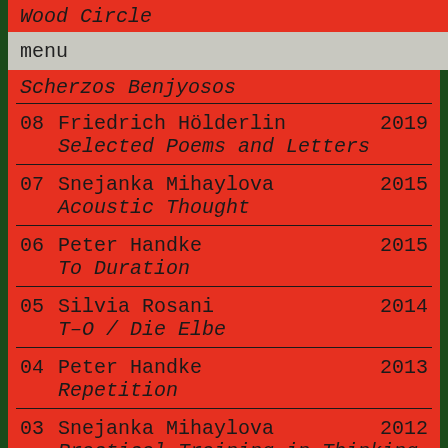Wood Circle
menu
Scherzos Benjyosos
08  Friedrich Hölderlin  2019
Selected Poems and Letters
07  Snejanka Mihaylova  2015
Acoustic Thought
06  Peter Handke  2015
To Duration
05  Silvia Rosani  2014
T–O / Die Elbe
04  Peter Handke  2013
Repetition
03  Snejanka Mihaylova  2012
Practical Training in Thinking
02  Phil Raber (ed.)  2012